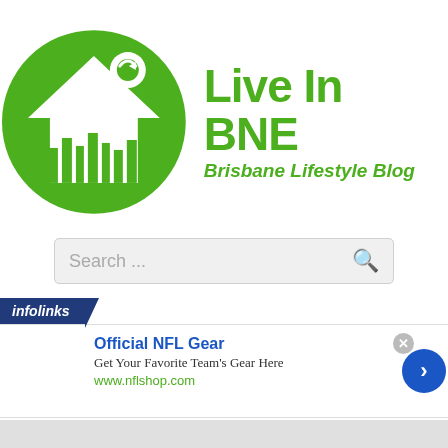[Figure (logo): Live In BNE Brisbane Lifestyle Blog logo: green circle with white house silhouette and city skyline, green text 'Live In BNE' and italic 'Brisbane Lifestyle Blog']
[Figure (screenshot): Search bar with placeholder text 'Search ...' and a search icon on the right]
[Figure (infographic): Infolinks ad banner: dark blue 'infolinks' tab, close button (x), right arrow button (blue circle), ad reading 'Official NFL Gear - Get Your Favorite Team's Gear Here - www.nflshop.com']